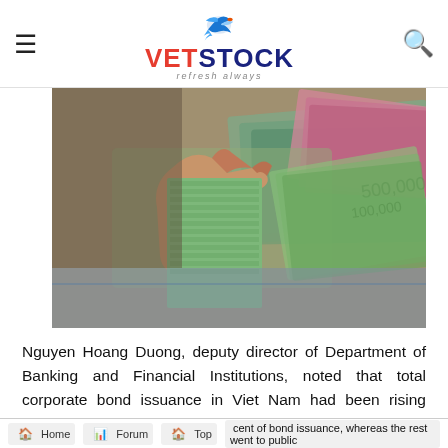VietStock — refresh always (navigation bar with hamburger menu and search icon)
[Figure (photo): Close-up photo of a hand holding a large stack of Vietnamese dong banknotes, with more notes spread in the background.]
Nguyen Hoang Duong, deputy director of Department of Banking and Financial Institutions, noted that total corporate bond issuance in Viet Nam had been rising steadily since Q2/2021.
Around VND658 trillion (US$29.1 billion) worth of bonds were issued in 2021, up 42 per cent year-on-year.
Private placement took up the lion's share of over 95 per cent of bond issuance, whereas the rest went to public
Home   Forum   Top